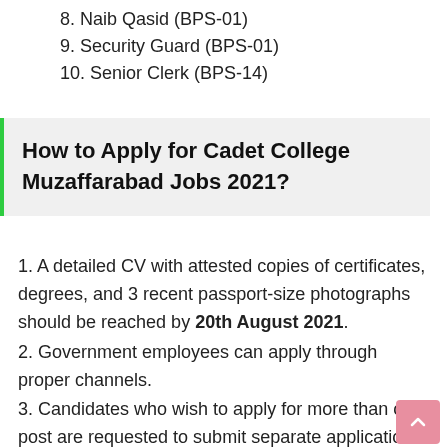8. Naib Qasid (BPS-01)
9. Security Guard (BPS-01)
10. Senior Clerk (BPS-14)
How to Apply for Cadet College Muzaffarabad Jobs 2021?
1. A detailed CV with attested copies of certificates, degrees, and 3 recent passport-size photographs should be reached by 20th August 2021.
2. Government employees can apply through proper channels.
3. Candidates who wish to apply for more than one post are requested to submit separate applications.
4. Applications should be addressed to the Principal, Cadet College,